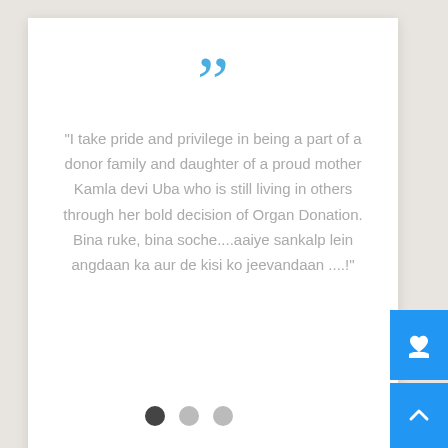[Figure (infographic): Testimonial / quote card with large blue quotation marks at top, grey italic quote text, and author attribution with avatar image and bold name 'Renu Uba'. Right side has three blue icon buttons (heart/hand, money, ID card) and a blue scroll-up button at bottom right. Three pagination dots at bottom center.]
“I take pride and privilege in being a part of a donor family and daughter of a proud mother Kamla devi Uba who is still living in others through her bold decision of Organ Donation. Bina ruke, bina soche....aaiye sankalp lein angdaan ka aur de kisi ko jeevandaan ....!”
Renu Uba